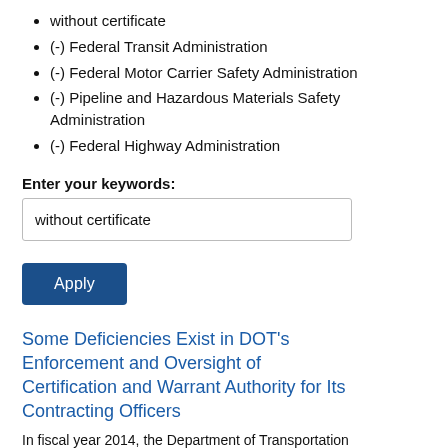without certificate
(-) Federal Transit Administration
(-) Federal Motor Carrier Safety Administration
(-) Pipeline and Hazardous Materials Safety Administration
(-) Federal Highway Administration
Enter your keywords:
without certificate
Apply
Some Deficiencies Exist in DOT’s Enforcement and Oversight of Certification and Warrant Authority for Its Contracting Officers
In fiscal year 2014, the Department of Transportation (DOT) obligated $0.1 billion on contract to DOT’...